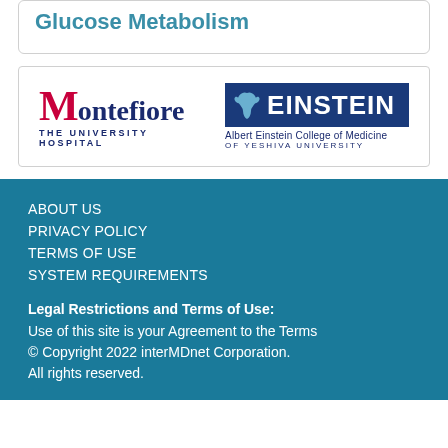Glucose Metabolism
[Figure (logo): Montefiore The University Hospital logo and Albert Einstein College of Medicine of Yeshiva University logo side by side]
ABOUT US
PRIVACY POLICY
TERMS OF USE
SYSTEM REQUIREMENTS
Legal Restrictions and Terms of Use: Use of this site is your Agreement to the Terms © Copyright 2022 interMDnet Corporation. All rights reserved.